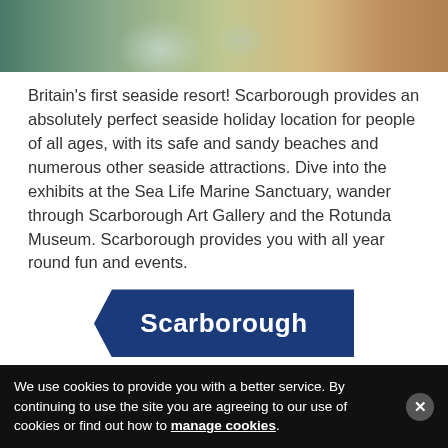[Figure (photo): Aerial or elevated photo of Scarborough seaside area showing circular structures and beach]
Britain's first seaside resort! Scarborough provides an absolutely perfect seaside holiday location for people of all ages, with its safe and sandy beaches and numerous other seaside attractions. Dive into the exhibits at the Sea Life Marine Sanctuary, wander through Scarborough Art Gallery and the Rotunda Museum. Scarborough provides you with all year round fun and events.
Scarborough
Top Scarborough attractions:
Scarborough Castle
We use cookies to provide you with a better service. By continuing to use the site you are agreeing to our use of cookies or find out how to manage cookies.